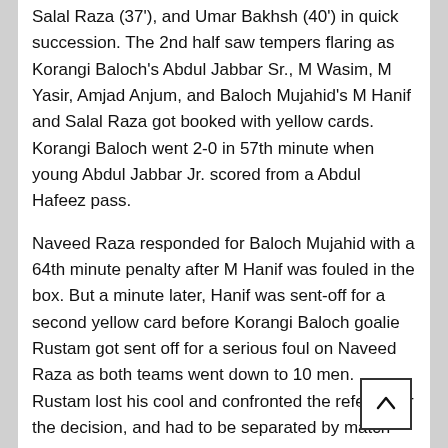Salal Raza (37'), and Umar Bakhsh (40') in quick succession. The 2nd half saw tempers flaring as Korangi Baloch's Abdul Jabbar Sr., M Wasim, M Yasir, Amjad Anjum, and Baloch Mujahid's M Hanif and Salal Raza got booked with yellow cards. Korangi Baloch went 2-0 in 57th minute when young Abdul Jabbar Jr. scored from a Abdul Hafeez pass.
Naveed Raza responded for Baloch Mujahid with a 64th minute penalty after M Hanif was fouled in the box. But a minute later, Hanif was sent-off for a second yellow card before Korangi Baloch goalie Rustam got sent off for a serious foul on Naveed Raza as both teams went down to 10 men. Rustam lost his cool and confronted the referee for the decision, and had to be separated by match committee members to re-start the game. Korangi Baloch held on for an ill-tempered 2-1 win. Referees were Aziz Pasha, Ahmed Mian, Qari Tahir, Arif Hameed, and Abdul Karim.